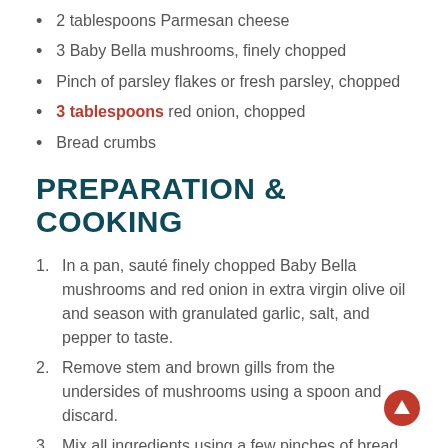2 tablespoons Parmesan cheese
3 Baby Bella mushrooms, finely chopped
Pinch of parsley flakes or fresh parsley, chopped
3 tablespoons red onion, chopped
Bread crumbs
PREPARATION & COOKING
In a pan, sauté finely chopped Baby Bella mushrooms and red onion in extra virgin olive oil and season with granulated garlic, salt, and pepper to taste.
Remove stem and brown gills from the undersides of mushrooms using a spoon and discard.
Mix all ingredients using a few pinches of bread crumbs and